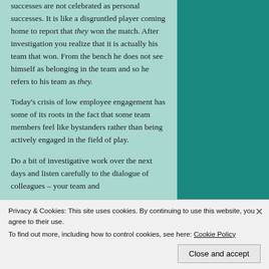successes are not celebrated as personal successes. It is like a disgruntled player coming home to report that they won the match. After investigation you realize that it is actually his team that won. From the bench he does not see himself as belonging in the team and so he refers to his team as they.
Today's crisis of low employee engagement has some of its roots in the fact that some team members feel like bystanders rather than being actively engaged in the field of play.
Do a bit of investigative work over the next days and listen carefully to the dialogue of colleagues – your team and
Privacy & Cookies: This site uses cookies. By continuing to use this website, you agree to their use. To find out more, including how to control cookies, see here: Cookie Policy
Close and accept